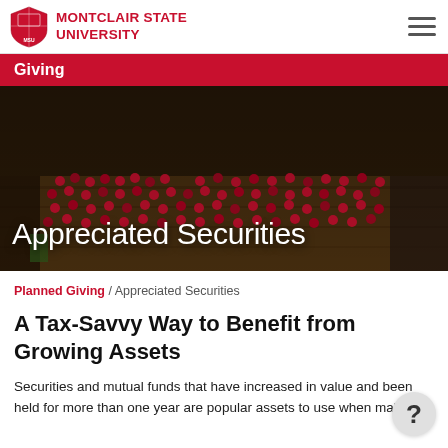MONTCLAIR STATE UNIVERSITY
Giving
[Figure (photo): Aerial view of a university graduation ceremony with students in red caps and gowns seated in rows on an outdoor stage]
Appreciated Securities
Planned Giving / Appreciated Securities
A Tax-Savvy Way to Benefit from Growing Assets
Securities and mutual funds that have increased in value and been held for more than one year are popular assets to use when making